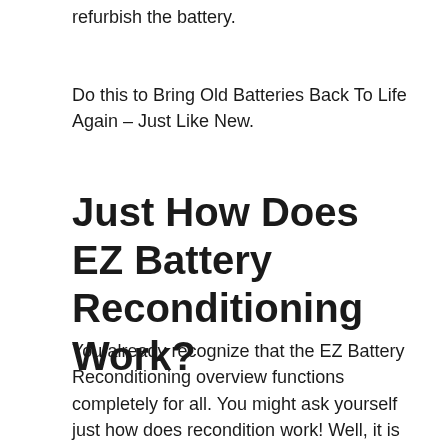refurbish the battery.
Do this to Bring Old Batteries Back To Life Again – Just Like New.
Just How Does EZ Battery Reconditioning Work?
You already recognize that the EZ Battery Reconditioning overview functions completely for all. You might ask yourself just how does recondition work! Well, it is not rocket science. You may investigate and find the methods also as it does not require any